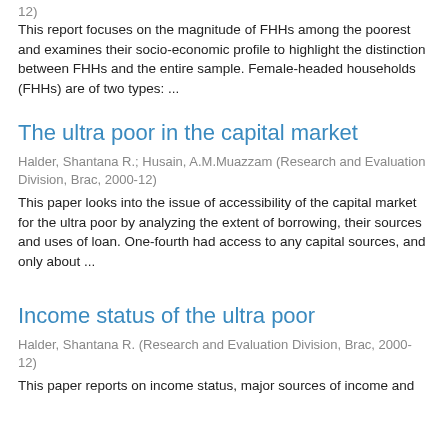12)
This report focuses on the magnitude of FHHs among the poorest and examines their socio-economic profile to highlight the distinction between FHHs and the entire sample. Female-headed households (FHHs) are of two types: ...
The ultra poor in the capital market
Halder, Shantana R.; Husain, A.M.Muazzam (Research and Evaluation Division, Brac, 2000-12)
This paper looks into the issue of accessibility of the capital market for the ultra poor by analyzing the extent of borrowing, their sources and uses of loan. One-fourth had access to any capital sources, and only about ...
Income status of the ultra poor
Halder, Shantana R. (Research and Evaluation Division, Brac, 2000-12)
This paper reports on income status, major sources of income and